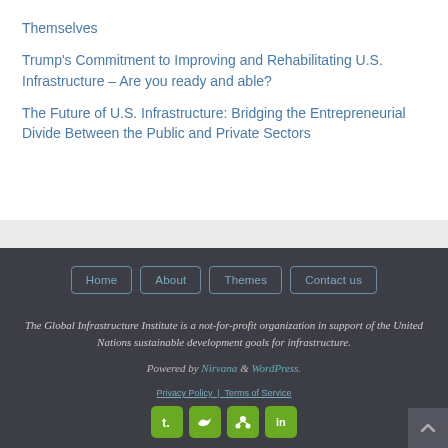Themselves
Trump's Commitment to Improving and Rehabilitating U.S. Infrastructure – Are you ready and able?
The Future of U.S. Infrastructure: Bridging the Entrepreneurial Divide Between the Public and Private Sectors
Home About Themes Contact us
The Global Infrastructure Institute is a not-for-profit organization in support of the United Nations sustainable development goals for infrastructure.
Powered by Nirvana & WordPress.